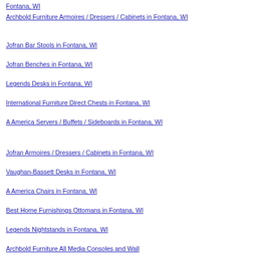Archbold Furniture Armoires / Dressers / Cabinets in Fontana, WI
Jofran Bar Stools in Fontana, WI
Jofran Benches in Fontana, WI
Legends Desks in Fontana, WI
International Furniture Direct Chests in Fontana, WI
A America Servers / Buffets / Sideboards in Fontana, WI
Jofran Armoires / Dressers / Cabinets in Fontana, WI
Vaughan-Bassett Desks in Fontana, WI
A America Chairs in Fontana, WI
Best Home Furnishings Ottomans in Fontana, WI
Legends Nightstands in Fontana, WI
Archbold Furniture All Media Consoles and Wall